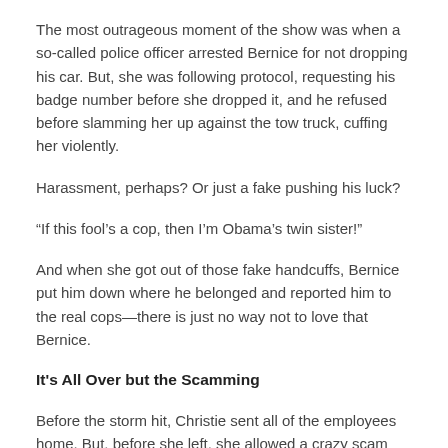The most outrageous moment of the show was when a so-called police officer arrested Bernice for not dropping his car. But, she was following protocol, requesting his badge number before she dropped it, and he refused before slamming her up against the tow truck, cuffing her violently.
Harassment, perhaps? Or just a fake pushing his luck?
“If this fool’s a cop, then I’m Obama’s twin sister!”
And when she got out of those fake handcuffs, Bernice put him down where he belonged and reported him to the real cops—there is just no way not to love that Bernice.
It’s All Over but the Scamming
Before the storm hit, Christie sent all of the employees home. But, before she left, she allowed a crazy scam artist and her family to take shelter in the Tremont office. Robbie was stuck babysitting